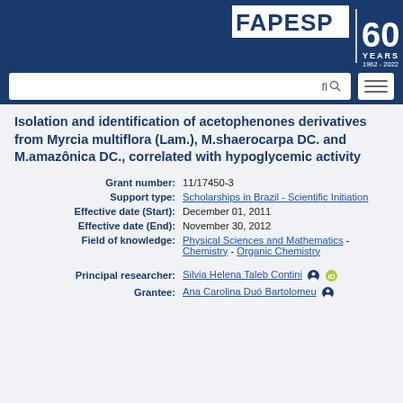[Figure (logo): FAPESP 60 Years 1962-2022 logo on dark blue header background]
[Figure (screenshot): Search bar and hamburger menu button on dark blue background]
Isolation and identification of acetophenones derivatives from Myrcia multiflora (Lam.), M.shaerocarpa DC. and M.amazônica DC., correlated with hypoglycemic activity
| Field | Value |
| --- | --- |
| Grant number: | 11/17450-3 |
| Support type: | Scholarships in Brazil - Scientific Initiation |
| Effective date (Start): | December 01, 2011 |
| Effective date (End): | November 30, 2012 |
| Field of knowledge: | Physical Sciences and Mathematics - Chemistry - Organic Chemistry |
| Principal researcher: | Silvia Helena Taleb Contini |
| Grantee: | Ana Carolina Duó Bartolomeu |